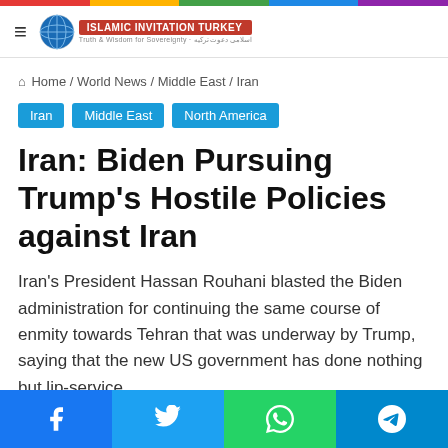Islamic Invitation Turkey – Home / World News / Middle East / Iran
Iran
Middle East
North America
Iran: Biden Pursuing Trump's Hostile Policies against Iran
Iran's President Hassan Rouhani blasted the Biden administration for continuing the same course of enmity towards Tehran that was underway by Trump, saying that the new US government has done nothing but lip-service.
17/03/2021  1 minute read